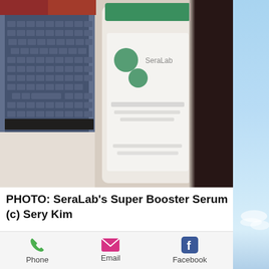[Figure (photo): A blurry photo of a SeraLab Super Booster Serum bottle on a white surface, with a laptop keyboard visible to the left and a dark object on the right. Green cap on the bottle, white label with green circle logo.]
PHOTO:  SeraLab's Super Booster Serum (c) Sery Kim
Yesterday I came back from a delightful, stress-relieving weekend at
Phone   Email   Facebook